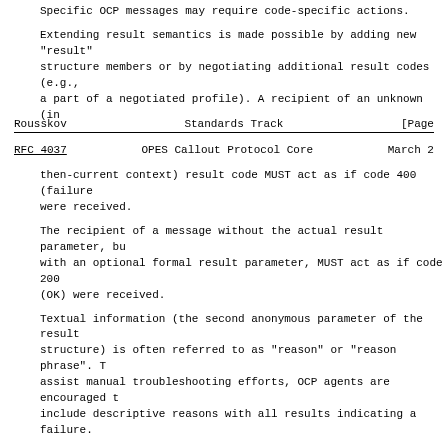Specific OCP messages may require code-specific actions.
Extending result semantics is made possible by adding new "result" structure members or by negotiating additional result codes (e.g., a part of a negotiated profile).  A recipient of an unknown (in
Rousskov                    Standards Track                    [Page
RFC 4037           OPES Callout Protocol Core           March 2
then-current context) result code MUST act as if code 400 (failure were received.
The recipient of a message without the actual result parameter, bu with an optional formal result parameter, MUST act as if code 200 (OK) were received.
Textual information (the second anonymous parameter of the result structure) is often referred to as "reason" or "reason phrase".  T assist manual troubleshooting efforts, OCP agents are encouraged t include descriptive reasons with all results indicating a failure.
In this specification, an OCP message with result status code of 4 (failure) is called "a message indicating a failure".
10.11.  feature
feature: extends structure with {
        uri;
};
The feature type extends structure to relay an OCP feature identif and to reserve a "place" for optional feature-specific parameters (sometimes called feature attributes).  Feature values are used